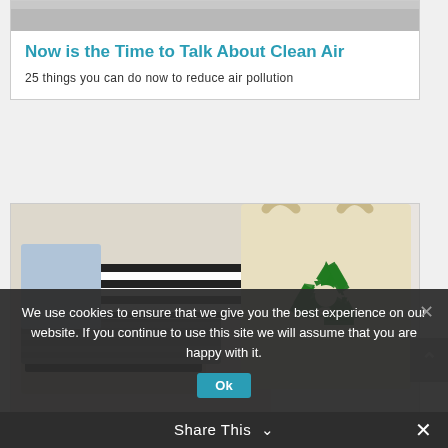[Figure (photo): Top portion of a person, partially visible, gray background]
Now is the Time to Talk About Clean Air
25 things you can do now to reduce air pollution
[Figure (photo): A cream/beige tote bag with green recycling symbol, next to folded clothing items including striped and knit fabrics, on a light gray background]
We use cookies to ensure that we give you the best experience on our website. If you continue to use this site we will assume that you are happy with it.
Ok
Share This